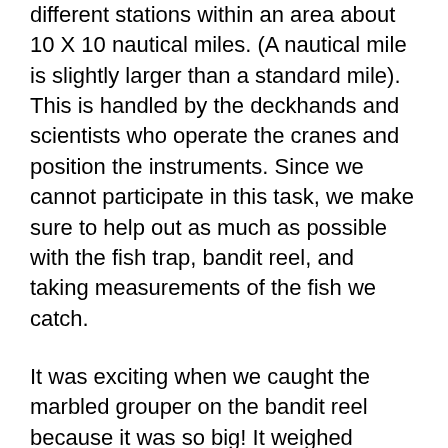different stations within an area about 10 X 10 nautical miles. (A nautical mile is slightly larger than a standard mile). This is handled by the deckhands and scientists who operate the cranes and position the instruments. Since we cannot participate in this task, we make sure to help out as much as possible with the fish trap, bandit reel, and taking measurements of the fish we catch.

It was exciting when we caught the marbled grouper on the bandit reel because it was so big! It weighed around 21 pounds and fell off the hook a second after the photo on the right was taken, scaring me half to death as it flopped around on the deck! I was sure it would flop itself right back into the water and there would go our impressive catch. Fortunately a deckhand was nearby to lift it back into the basket. This grouper was not on the list of fish that we needed to save for the NSIL, so after taking its measurements, it was sent to the galley and provided lunch one day for everyone on board the ship.